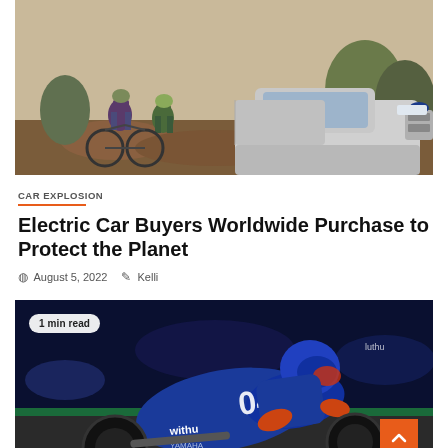[Figure (photo): Photo of two cyclists with mountain bikes standing next to a silver Ford F-150 Lightning electric pickup truck on a rocky outdoor trail]
CAR EXPLOSION
Electric Car Buyers Worldwide Purchase to Protect the Planet
August 5, 2022   Kelli
[Figure (photo): Photo of a motorcycle racer on a blue Yamaha WithU racing bike leaning into a turn on a race track, with '04' on the bike and '1 min read' badge overlay]